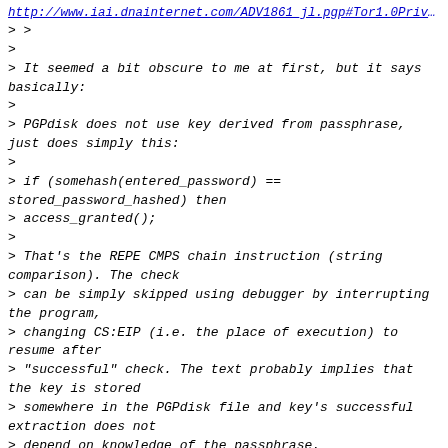http://www.iai.dnainternet.com/ADV1861_jl.pgp#Tor1.0PrivEmail2
> >
>
> It seemed a bit obscure to me at first, but it says basically:
>
> PGPdisk does not use key derived from passphrase, just does simply this:
>
> if (somehash(entered_password) ==
stored_password_hashed) then
> access_granted();
>
> That's the REPE CMPS chain instruction (string comparison). The check
> can be simply skipped using debugger by interrupting the program,
> changing CS:EIP (i.e. the place of execution) to resume after
> "successful" check. The text probably implies that the key is stored
> somewhere in the PGPdisk file and key's successful extraction does not
> depend on knowledge of the passphrase.
Nope.  Well, yes, the text does imply that, but the text is seriously wrong.
See my previous post for the full mechanism.  (Assuming the moderator lets it
through.)